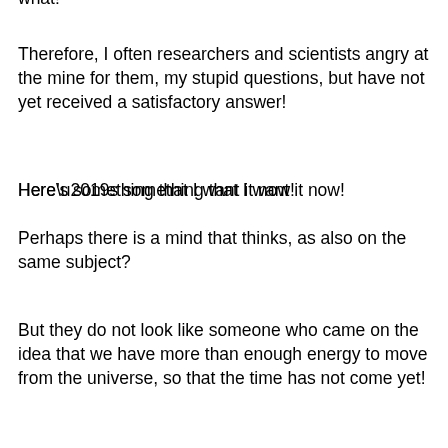what!
Therefore, I often researchers and scientists angry at the mine for them, my stupid questions, but have not yet received a satisfactory answer!
Here’s something that I want it now!
Perhaps there is a mind that thinks, as also on the same subject?
But they do not look like someone who came on the idea that we have more than enough energy to move from the universe, so that the time has not come yet!
But the fact is that science is now certain that an unknown force that affect the distant galaxies, and therefore I believe that this force called «dark energy» (EF)also affects our galaxy, which I used as a starting point in considering universe of meaning for us humans!